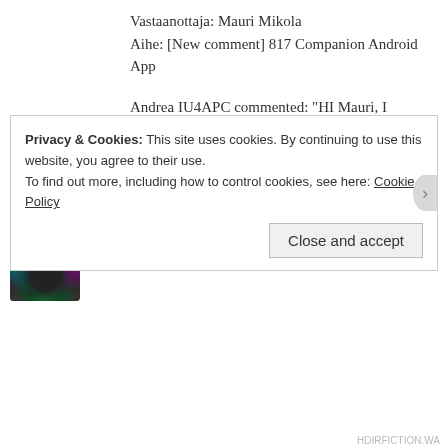Vastaanottaja: Mauri Mikola
Aihe: [New comment] 817 Companion Android App
Andrea IU4APC commented: “HI Mauri, I suppose that you long press the ON/OFF button to connect 😉 72/73 Andrea IU4APC”
★ Like
★ Andrea IU4APC says:
Jul 06, 2015 at 10:34 am
[Figure (photo): Avatar image of a cat in astronaut helmet with colorful neon glow effect]
Privacy & Cookies: This site uses cookies. By continuing to use this website, you agree to their use.
To find out more, including how to control cookies, see here: Cookie Policy
Close and accept
HDIRFICTION.WA